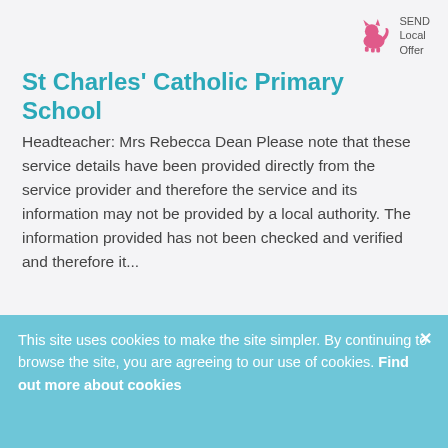[Figure (logo): SEND Local Offer logo with pink cat silhouette and text 'SEND Local Offer']
St Charles' Catholic Primary School
Headteacher: Mrs Rebecca Dean Please note that these service details have been provided directly from the service provider and therefore the service and its information may not be provided by a local authority. The information provided has not been checked and verified and therefore it...
0151 727 5830   0151 727 5830
This site uses cookies to make the site simpler. By continuing to browse the site, you are agreeing to our use of cookies. Find out more about cookies